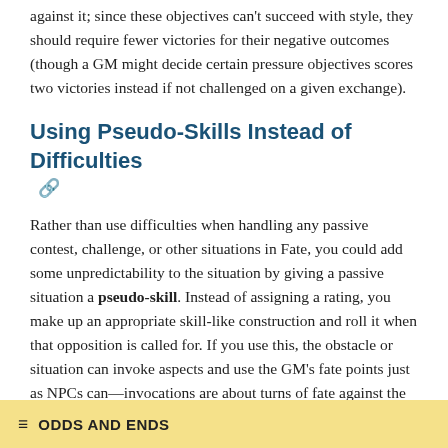against it; since these objectives can't succeed with style, they should require fewer victories for their negative outcomes (though a GM might decide certain pressure objectives scores two victories instead if not challenged on a given exchange).
Using Pseudo-Skills Instead of Difficulties
Rather than use difficulties when handling any passive contest, challenge, or other situations in Fate, you could add some unpredictability to the situation by giving a passive situation a pseudo-skill. Instead of assigning a rating, you make up an appropriate skill-like construction and roll it when that opposition is called for. If you use this, the obstacle or situation can invoke aspects and use the GM's fate points just as NPCs can—invocations are about turns of fate against the acting character in these cases.
≡  ODDS AND ENDS